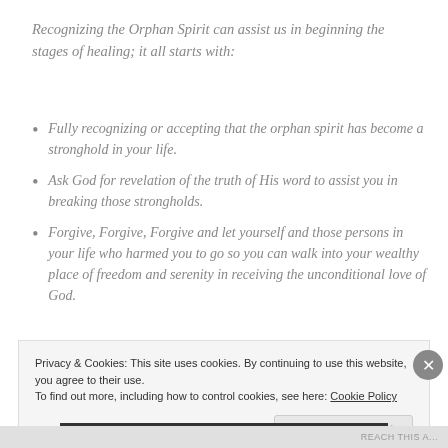Recognizing the Orphan Spirit can assist us in beginning the stages of healing; it all starts with:
Fully recognizing or accepting that the orphan spirit has become a stronghold in your life.
Ask God for revelation of the truth of His word to assist you in breaking those strongholds.
Forgive, Forgive, Forgive and let yourself and those persons in your life who harmed you to go so you can walk into your wealthy place of freedom and serenity in receiving the unconditional love of God.
Privacy & Cookies: This site uses cookies. By continuing to use this website, you agree to their use. To find out more, including how to control cookies, see here: Cookie Policy
Close and accept